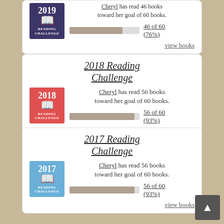[Figure (other): 2019 Goodreads Reading Challenge badge (dark purple)]
Cheryl has read 46 books toward her goal of 60 books.
46 of 60 (76%)
view books
2018 Reading Challenge
[Figure (other): 2018 Goodreads Reading Challenge badge (red)]
Cheryl has read 56 books toward her goal of 60 books.
56 of 60 (93%)
view books
2017 Reading Challenge
[Figure (other): 2017 Goodreads Reading Challenge badge (blue)]
Cheryl has read 56 books toward her goal of 60 books.
56 of 60 (93%)
view books